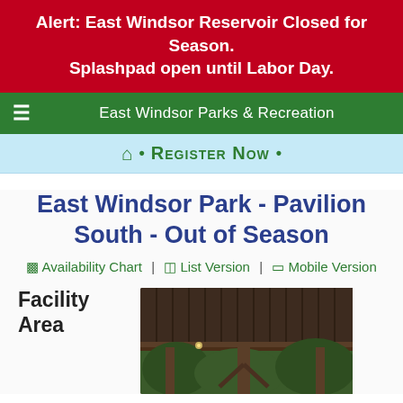Alert: East Windsor Reservoir Closed for Season. Splashpad open until Labor Day.
East Windsor Parks & Recreation
🏠 • Register Now •
East Windsor Park - Pavilion South - Out of Season
Availability Chart | List Version | Mobile Version
Facility Area
[Figure (photo): Photo of a wooden pavilion structure viewed from underneath, showing wooden ceiling planks, support beams, and posts, with green trees visible in the background.]